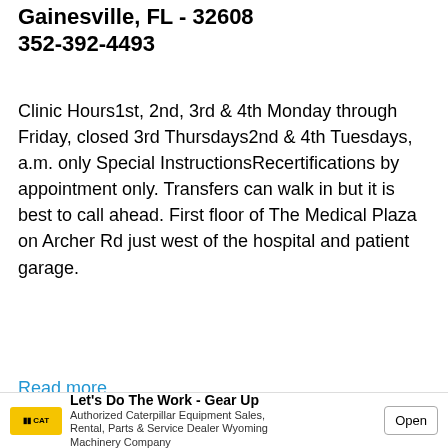Gainesville, FL - 32608
352-392-4493
Clinic Hours1st, 2nd, 3rd & 4th Monday through Friday, closed 3rd Thursdays2nd & 4th Tuesdays, a.m. only Special InstructionsRecertifications by appointment only. Transfers can walk in but it is best to call ahead. First floor of The Medical Plaza on Archer Rd just west of the hospital and patient garage.
Read more
RIDA DEPARTMENT OF HEALTH IN